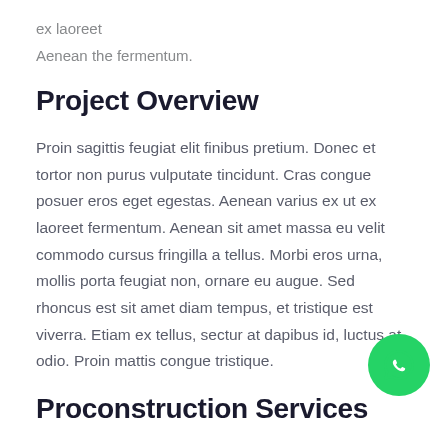ex laoreet
Aenean the fermentum.
Project Overview
Proin sagittis feugiat elit finibus pretium. Donec et tortor non purus vulputate tincidunt. Cras congue posuer eros eget egestas. Aenean varius ex ut ex laoreet fermentum. Aenean sit amet massa eu velit commodo cursus fringilla a tellus. Morbi eros urna, mollis porta feugiat non, ornare eu augue. Sed rhoncus est sit amet diam tempus, et tristique est viverra. Etiam ex tellus, sectur at dapibus id, luctus at odio. Proin mattis congue tristique.
[Figure (logo): WhatsApp button icon — green circle with white WhatsApp phone/chat logo]
Proconstruction Services